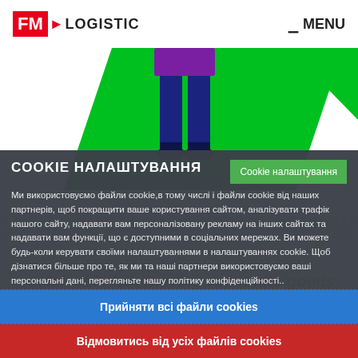FM LOGISTIC  MENU
[Figure (illustration): Illustration of a person (legs visible) wearing blue trousers and a purple top, standing in front of a large green diagonal shape on a white background.]
COOKIE НАЛАШТУВАННЯ
Cookie налаштування
Ми використовуємо файли cookie,в тому числі і файли cookie від наших партнерів, щоб покращити ваше користування сайтом, аналізувати трафік нашого сайту, надавати вам персоналізовану рекламу на інших сайтах та надавати вам функції, що є доступними в соціальних мережах. Ви можете будь-коли керувати своїми налаштуваннями в налаштуваннях cookie. Щоб дізнатися більше про те, як ми та наші партнери використовуємо ваші персональні дані, перегляньте нашу політику конфіденційності..
Прийняти всі файли cookies
Відмовитись від усіх файлів cookies